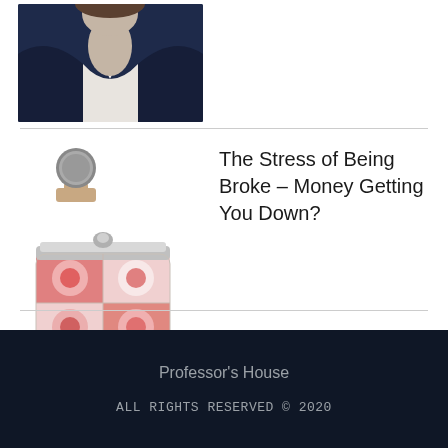[Figure (photo): Partial photo of a person wearing a dark navy blazer/jacket with a white shirt visible underneath, only the neck and torso area shown.]
[Figure (photo): A coin being held by fingers (small circular coin visible at top), and below it a patterned clasp purse/coin purse with red and pink circular patterns on a cream background, held in a hand.]
The Stress of Being Broke – Money Getting You Down?
Professor's House
ALL RIGHTS RESERVED © 2020